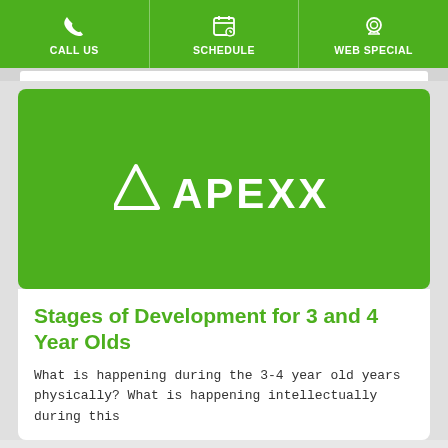CALL US | SCHEDULE | WEB SPECIAL
[Figure (logo): APEXX logo in white on green background, with a triangle/arrow symbol before the text]
Stages of Development for 3 and 4 Year Olds
What is happening during the 3-4 year old years physically? What is happening intellectually during this